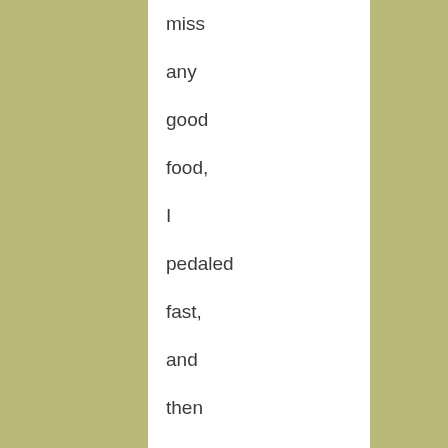miss any good food, I pedaled fast, and then much faster down Coit Road and Gilroy Hot Spring Road. When I rode